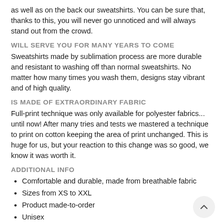as well as on the back our sweatshirts. You can be sure that, thanks to this, you will never go unnoticed and will always stand out from the crowd.
WILL SERVE YOU FOR MANY YEARS TO COME
Sweatshirts made by sublimation process are more durable and resistant to washing off than normal sweatshirts. No matter how many times you wash them, designs stay vibrant and of high quality.
IS MADE OF EXTRAORDINARY FABRIC
Full-print technique was only available for polyester fabrics... until now! After many tries and tests we mastered a technique to print on cotton keeping the area of print unchanged. This is huge for us, but your reaction to this change was so good, we know it was worth it.
ADDITIONAL INFO
Comfortable and durable, made from breathable fabric
Sizes from XS to XXL
Product made-to-order
Unisex